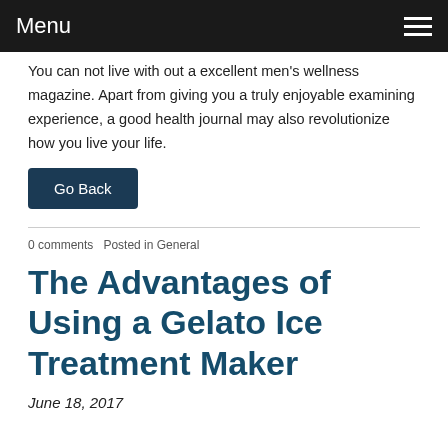Menu
You can not live with out a excellent men's wellness magazine. Apart from giving you a truly enjoyable examining experience, a good health journal may also revolutionize how you live your life.
Go Back
0 comments   Posted in General
The Advantages of Using a Gelato Ice Treatment Maker
June 18, 2017